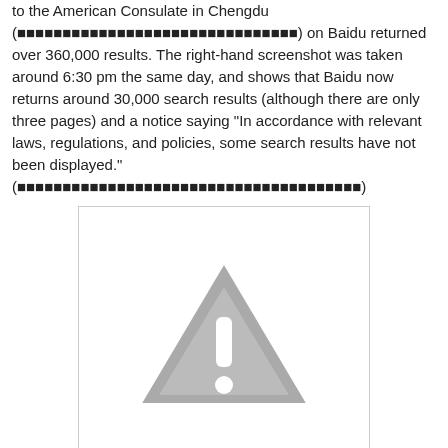to the American Consulate in Chengdu (囧囧囧囧囧囧囧囧囧囧囧囧囧囧囧囧囧囧囧囧囧囧囧囧囧囧囧囧囧囧囧) on Baidu returned over 360,000 results. The right-hand screenshot was taken around 6:30 pm the same day, and shows that Baidu now returns around 30,000 search results (although there are only three pages) and a notice saying "In accordance with relevant laws, regulations, and policies, some search results have not been displayed." (囧囧囧囧囧囧囧囧囧囧囧囧囧囧囧囧囧囧囧囧囧囧囧囧囧囧囧囧囧囧囧囧囧囧囧囧囧囧)
[Figure (other): Image placeholder showing a warning/caution triangle icon with exclamation mark on a grey background, indicating the image is unavailable or missing.]
March 31: The Economy and Nation Weekly publishes an